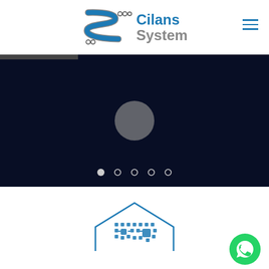[Figure (logo): Cilans System logo with stylized S and circular dots, company name in blue and gray]
[Figure (screenshot): Dark navy hero banner with a gray circular play button in the center, slider dots at the bottom, and a dark progress bar at the top left]
[Figure (logo): Cilans System engineering/circuit board icon in blue and teal, inside an angular house/pentagon outline]
[Figure (logo): WhatsApp green circular icon in bottom right corner]